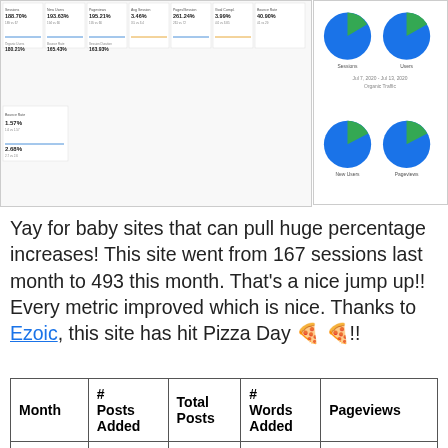[Figure (screenshot): Analytics dashboard screenshot showing multiple stat cards with percentage metrics and small line charts, plus four pie charts on the right panel showing blue dominant slices]
Yay for baby sites that can pull huge percentage increases! This site went from 167 sessions last month to 493 this month. That's a nice jump up!! Every metric improved which is nice. Thanks to Ezoic, this site has hit Pizza Day 🍕🍕!!
| Month | # Posts Added | Total Posts | # Words Added | Pageviews |
| --- | --- | --- | --- | --- |
| June | 0 | 34 | 0 | 147 |